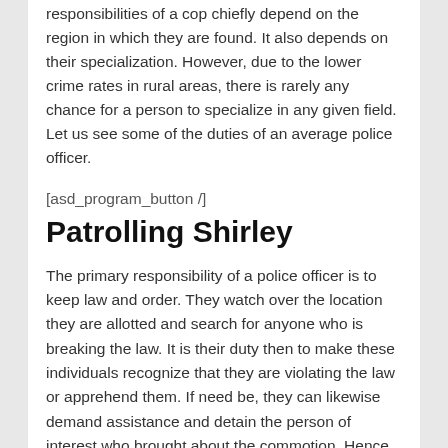responsibilities of a cop chiefly depend on the region in which they are found. It also depends on their specialization. However, due to the lower crime rates in rural areas, there is rarely any chance for a person to specialize in any given field. Let us see some of the duties of an average police officer.
[asd_program_button /]
Patrolling Shirley
The primary responsibility of a police officer is to keep law and order. They watch over the location they are allotted and search for anyone who is breaking the law. It is their duty then to make these individuals recognize that they are violating the law or apprehend them. If need be, they can likewise demand assistance and detain the person of interest who brought about the commotion. Hence, as give and take, a law enforcement officer is likewise duty-bound to reply to calls by other law enforcement officers amid w--- regardless of the possibility that the law enforcement o--- being referred to is not in his assigned territory. They relinquish the prisoner to court and let the court decide how